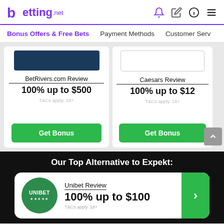betting.net
Bonus Offers & Free Bets  Payment Methods  Customer Serv
BetRivers.com Review
100% up to $500
T&Cs apply. 18+
Caesars Review
100% up to $12
T&Cs apply. 18+
Get Bonus
Get Bonus
Our Top Alternative to Expekt:
Unibet Review
100% up to $100
T&Cs apply. 18+